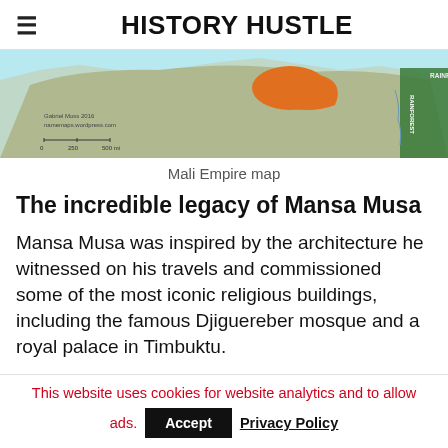HISTORY HUSTLE
[Figure (map): Map of the Mali Empire showing its territory in orange/brown along the West African coast, with surrounding terrain including rainforest area labeled on the right. Credit: Gabriel Moss 2016, namemaps.wordpress.com. Scale bar showing 0, 250, 500 mi.]
Mali Empire map
The incredible legacy of Mansa Musa
Mansa Musa was inspired by the architecture he witnessed on his travels and commissioned some of the most iconic religious buildings, including the famous Djiguereber mosque and a royal palace in Timbuktu.
This website uses cookies for website analytics and to allow ads.